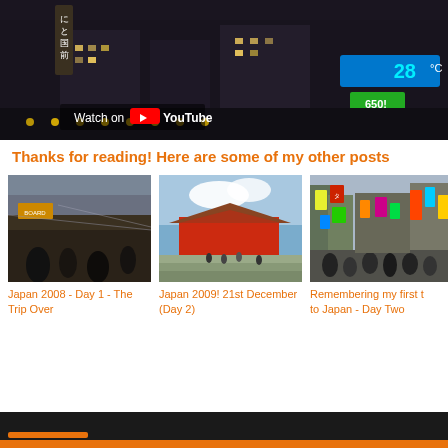[Figure (screenshot): YouTube video thumbnail showing nighttime Japan street scene with neon signs, temperature display showing 28°C and LOTTERIA sign. Overlay text reads 'Watch on YouTube' with YouTube logo.]
Thanks for reading! Here are some of my other posts
[Figure (photo): Airport interior with long hall, yellow departure boards, modern architecture with glass ceiling.]
Japan 2008 - Day 1 - The Trip Over
[Figure (photo): Japanese temple (Kiyomizu-dera style) with red gate/facade, stone steps with tourists.]
Japan 2009! 21st December (Day 2)
[Figure (photo): Busy Japanese street scene with colorful neon signs and crowds of pedestrians.]
Remembering my first trip to Japan - Day Two